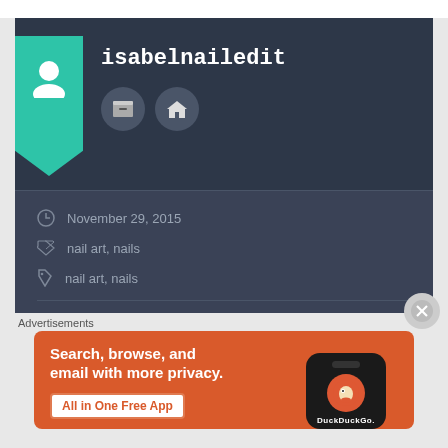[Figure (screenshot): User profile card for 'isabelnailedit' on a dark background with teal bookmark banner and user icon. Shows two icon buttons (archive and home). Below shows metadata: date November 29, 2015, categories nail art/nails, tags nail art/nails.]
Advertisements
[Figure (screenshot): DuckDuckGo advertisement banner on orange/red background with text 'Search, browse, and email with more privacy. All in One Free App' and a phone mockup showing the DuckDuckGo logo.]